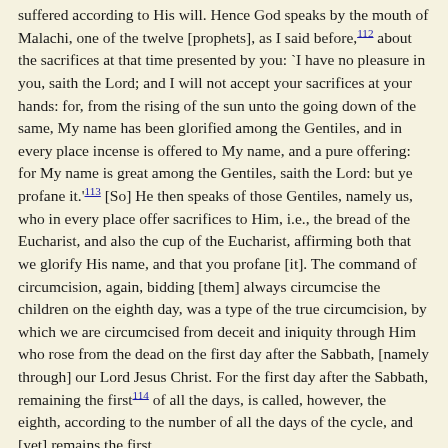suffered according to His will. Hence God speaks by the mouth of Malachi, one of the twelve [prophets], as I said before,112 about the sacrifices at that time presented by you: `I have no pleasure in you, saith the Lord; and I will not accept your sacrifices at your hands: for, from the rising of the sun unto the going down of the same, My name has been glorified among the Gentiles, and in every place incense is offered to My name, and a pure offering: for My name is great among the Gentiles, saith the Lord: but ye profane it.'113 [So] He then speaks of those Gentiles, namely us, who in every place offer sacrifices to Him, i.e., the bread of the Eucharist, and also the cup of the Eucharist, affirming both that we glorify His name, and that you profane [it]. The command of circumcision, again, bidding [them] always circumcise the children on the eighth day, was a type of the true circumcision, by which we are circumcised from deceit and iniquity through Him who rose from the dead on the first day after the Sabbath, [namely through] our Lord Jesus Christ. For the first day after the Sabbath, remaining the first114 of all the days, is called, however, the eighth, according to the number of all the days of the cycle, and [yet] remains the first.
Chapter XLII.-The Bells on the Priest's Robe Were a Figure of the Apostles.